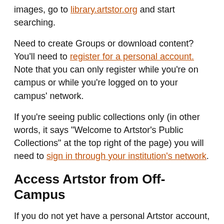images, go to library.artstor.org and start searching.
Need to create Groups or download content? You'll need to register for a personal account. Note that you can only register while you're on campus or while you're logged on to your campus' network.
If you're seeing public collections only (in other words, it says "Welcome to Artstor's Public Collections" at the top right of the page) you will need to sign in through your institution's network.
Access Artstor from Off-Campus
If you do not yet have a personal Artstor account, are seeing our public access page, and want to download and save Groups, you will need to either access the Digital Library from on-campus (where you can then